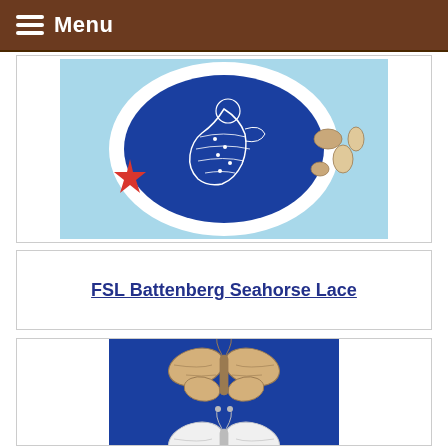Menu
[Figure (photo): FSL Battenberg seahorse lace design on blue fabric with a red starfish and seashells, shown in a circular white frame on a light blue background]
FSL Battenberg Seahorse Lace
[Figure (photo): Three FSL Battenberg butterfly lace designs arranged vertically on royal blue fabric — top and bottom in tan/gold thread, middle in white thread]